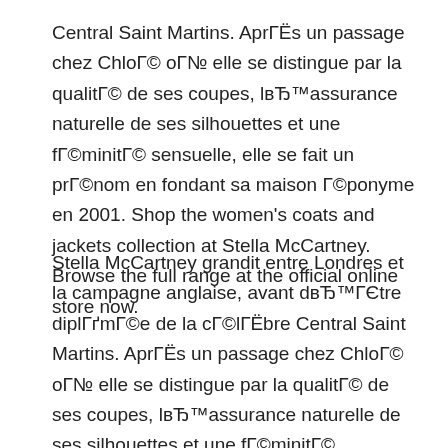Central Saint Martins. AprГЁs un passage chez ChloГ© oГ№ elle se distingue par la qualitГ© de ses coupes, lвЂ™assurance naturelle de ses silhouettes et une fГ©minitГ© sensuelle, elle se fait un prГ©nom en fondant sa maison Г©ponyme en 2001. Shop the women's coats and jackets collection at Stella McCartney. Browse the full range at the official online store now.
Stella McCartney grandit entre Londres et la campagne anglaise, avant dвЂ™ГЄtre diplГґmГ©e de la cГ©lГЁbre Central Saint Martins. AprГЁs un passage chez ChloГ© oГ№ elle se distingue par la qualitГ© de ses coupes, lвЂ™assurance naturelle de ses silhouettes et une fГ©minitГ© sensuelle, elle se fait un prГ©nom en fondant sa maison Г©ponyme en 2001. Stella McCartney Coats HK. 155 Products. Kiton Off-White chuu LARDINI Neil Barrett Marc Jacobs Yves Saint Laurent GIVENCHY Sunnydaysweety